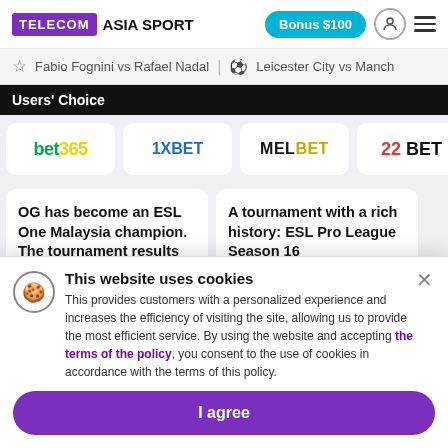TELECOM ASIA SPORT | Bonus $100
Fabio Fognini vs Rafael Nadal | Leicester City vs Manchester
Users' Choice
[Figure (logo): bet365 logo]
[Figure (logo): 1XBET logo]
[Figure (logo): MELBET logo]
[Figure (logo): 22BET logo]
OG has become an ESL One Malaysia champion. The tournament results
A tournament with a rich history: ESL Pro League Season 16 announcement
This website uses cookies
This provides customers with a personalized experience and increases the efficiency of visiting the site, allowing us to provide the most efficient service. By using the website and accepting the terms of the policy, you consent to the use of cookies in accordance with the terms of this policy.
I agree